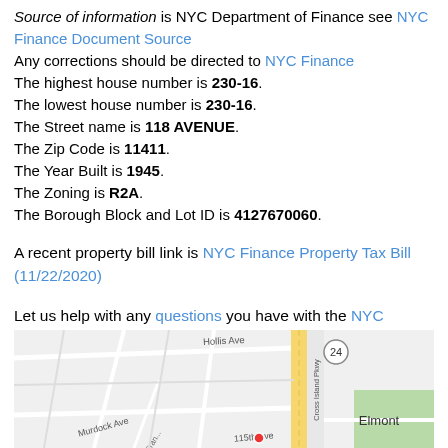Source of information is NYC Department of Finance see NYC Finance Document Source Any corrections should be directed to NYC Finance The highest house number is 230-16. The lowest house number is 230-16. The Street name is 118 AVENUE. The Zip Code is 11411. The Year Built is 1945. The Zoning is R2A. The Borough Block and Lot ID is 4127670060.
A recent property bill link is NYC Finance Property Tax Bill (11/22/2020)
Let us help with any questions you have with the NYC property tax search page
[Figure (map): Street map showing area near 118 Avenue in Queens/Elmont NY, with Cross Island Pkwy visible, streets including Hollis Ave, Murdock Ave, 115th Ave, and label for Elmont neighborhood. Route 24 shown.]